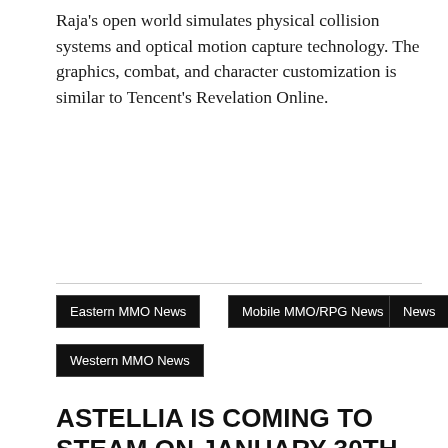Raja's open world simulates physical collision systems and optical motion capture technology. The graphics, combat, and character customization is similar to Tencent's Revelation Online.
Eastern MMO News
Mobile MMO/RPG News
News
Western MMO News
ASTELLIA IS COMING TO STEAM ON JANUARY 30TH
January 24, 2020 | Phreeoni | Leave a comment
[Figure (photo): Row of fantasy game character portraits including dark-haired female, robed figure, silver-haired male, blonde female, dark armored figure, and pink-haired character]